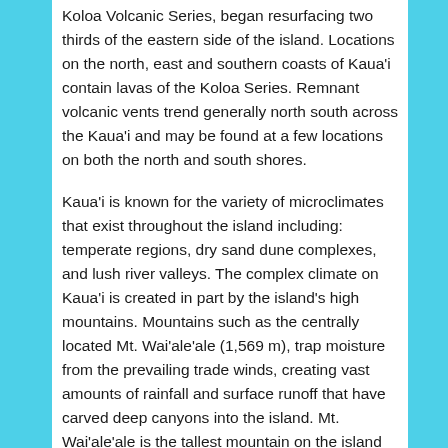Koloa Volcanic Series, began resurfacing two thirds of the eastern side of the island. Locations on the north, east and southern coasts of Kaua'i contain lavas of the Koloa Series. Remnant volcanic vents trend generally north south across the Kaua'i and may be found at a few locations on both the north and south shores.
Kaua'i is known for the variety of microclimates that exist throughout the island including: temperate regions, dry sand dune complexes, and lush river valleys. The complex climate on Kaua'i is created in part by the island's high mountains. Mountains such as the centrally located Mt. Wai'ale'ale (1,569 m), trap moisture from the prevailing trade winds, creating vast amounts of rainfall and surface runoff that have carved deep canyons into the island. Mt. Wai'ale'ale is the tallest mountain on the island and receives an average of 11.4 m of rain each year, much of which drains northwest into the Alakai Swamp, one of the wettest places on earth.